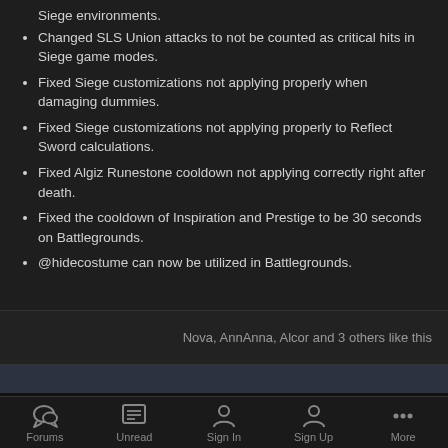Siege environments.
Changed SLS Union attacks to not be counted as critical hits in Siege game modes.
Fixed Siege customizations not applying properly when damaging dummies.
Fixed Siege customizations not applying properly to Reflect Sword calculations.
Fixed Algiz Runestone cooldown not applying correctly right after death.
Fixed the cooldown of Inspiration and Prestige to be 30 seconds on Battlegrounds.
@hidecostume can now be utilized in Battlegrounds.
Nova, AnnAnna, Alcor and 3 others like this
Forums | Unread | Sign In | Sign Up | More